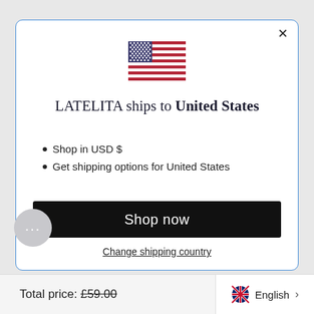[Figure (illustration): US flag emoji/icon centered in modal dialog]
LATELITA ships to United States
Shop in USD $
Get shipping options for United States
Shop now
Change shipping country
Total price: £59.00
English >